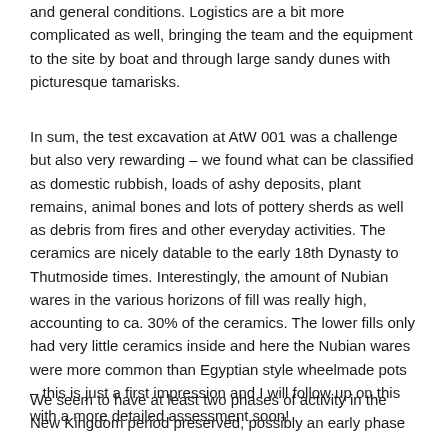and general conditions. Logistics are a bit more complicated as well, bringing the team and the equipment to the site by boat and through large sandy dunes with picturesque tamarisks.
In sum, the test excavation at AtW 001 was a challenge but also very rewarding – we found what can be classified as domestic rubbish, loads of ashy deposits, plant remains, animal bones and lots of pottery sherds as well as debris from fires and other everyday activities. The ceramics are nicely datable to the early 18th Dynasty to Thutmoside times. Interestingly, the amount of Nubian wares in the various horizons of fill was really high, accounting to ca. 30% of the ceramics. The lower fills only had very little ceramics inside and here the Nubian wares were more common than Egyptian style wheelmade pots – this is just a first impression and I will follow up on this with a more detailed assessment soon!
We seem to have at least two phases of activity in the New Kingdom period preserved, possibly an early phase